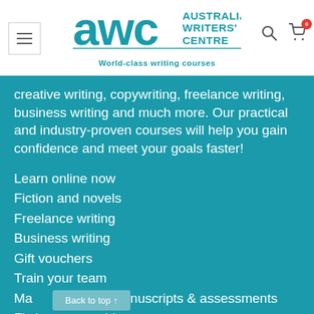[Figure (logo): Australian Writers' Centre logo with teal AWC text and tagline 'World-class writing courses']
creative writing, copywriting, freelance writing, business writing and much more. Our practical and industry-proven courses will help you gain confidence and meet your goals faster!
Learn online now
Fiction and novels
Freelance writing
Business writing
Gift vouchers
Train your team
Manuscripts &amp; assessments
Fiction mentorships